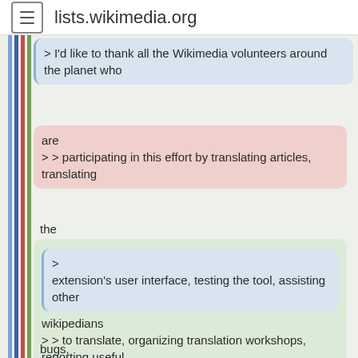lists.wikimedia.org
> I'd like to thank all the Wikimedia volunteers around the planet who
are
> > participating in this effort by translating articles, translating
the
>
extension's user interface, testing the tool, assisting other
wikipedians
> > to translate, organizing translation workshops, reporting useful
bugs,
> > submitting patches, and generally proving day after day what an